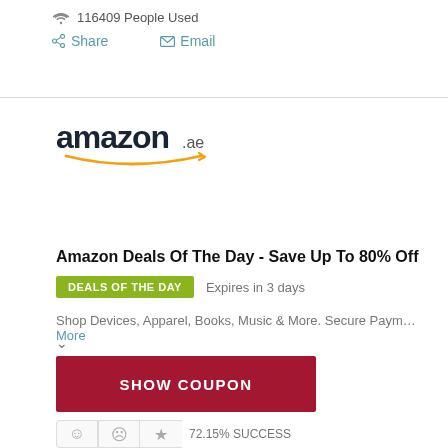116409 People Used
Share   Email
[Figure (logo): Amazon.ae logo with orange smile arc underneath]
Amazon Deals Of The Day - Save Up To 80% Off
DEALS OF THE DAY   Expires in 3 days
Shop Devices, Apparel, Books, Music & More. Secure Paym... More
SHOW COUPON
72.15% SUCCESS